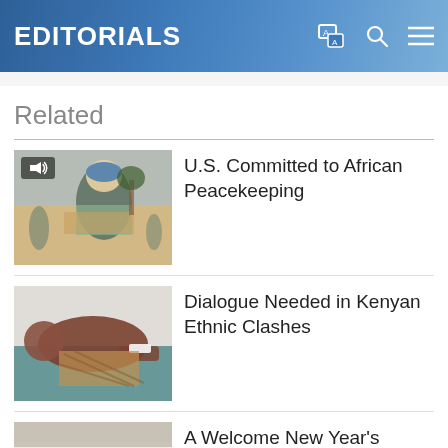EDITORIALS
Related
[Figure (photo): UN peacekeeper in blue helmet carrying a cardboard box in an arid setting]
U.S. Committed to African Peacekeeping
[Figure (photo): Person lying on a surface, appearing injured, with bandaged wrist]
Dialogue Needed in Kenyan Ethnic Clashes
[Figure (photo): Close-up of documents/papers on a surface]
A Welcome New Year's Gesture in Ethiopia